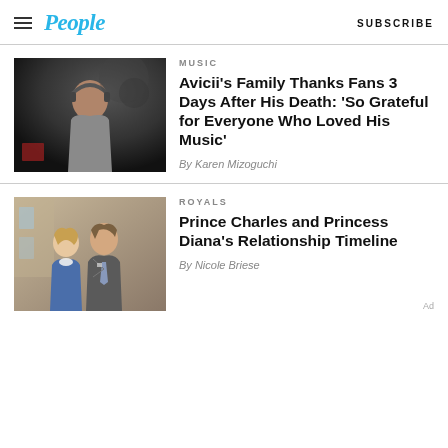People | SUBSCRIBE
MUSIC
Avicii's Family Thanks Fans 3 Days After His Death: 'So Grateful for Everyone Who Loved His Music'
By Karen Mizoguchi
[Figure (photo): Photo of Avicii (DJ with headphones) at a music event, dark background]
ROYALS
Prince Charles and Princess Diana's Relationship Timeline
By Nicole Briese
[Figure (photo): Photo of Prince Charles and Princess Diana together, smiling, outdoors near a building]